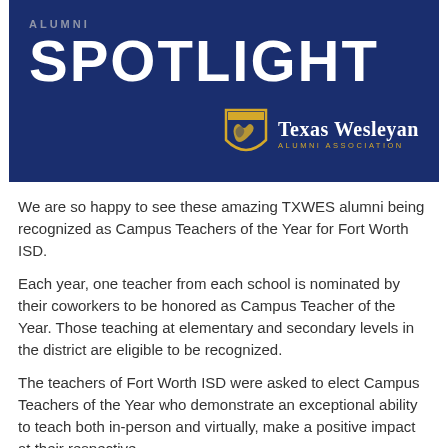[Figure (logo): Texas Wesleyan Alumni Association banner with 'SPOTLIGHT' title on dark navy blue background, including the Texas Wesleyan shield logo and wordmark]
We are so happy to see these amazing TXWES alumni being recognized as Campus Teachers of the Year for Fort Worth ISD.
Each year, one teacher from each school is nominated by their coworkers to be honored as Campus Teacher of the Year. Those teaching at elementary and secondary levels in the district are eligible to be recognized.
The teachers of Fort Worth ISD were asked to elect Campus Teachers of the Year who demonstrate an exceptional ability to teach both in-person and virtually, make a positive impact at their respective